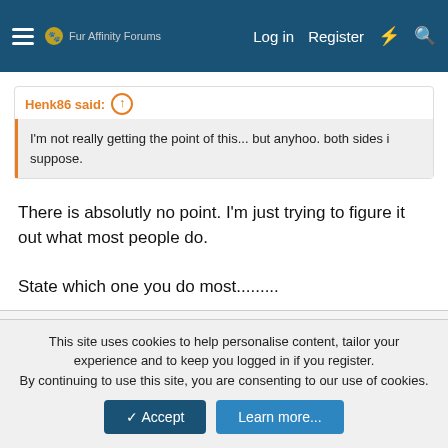Fur Affinity Forums  Log in  Register
Henk86 said: ↑
I'm not really getting the point of this... but anyhoo. both sides i suppose.
There is absolutly no point. I'm just trying to figure it out what most people do.

State which one you do most.........
RoscoTL
Member
This site uses cookies to help personalise content, tailor your experience and to keep you logged in if you register.
By continuing to use this site, you are consenting to our use of cookies.